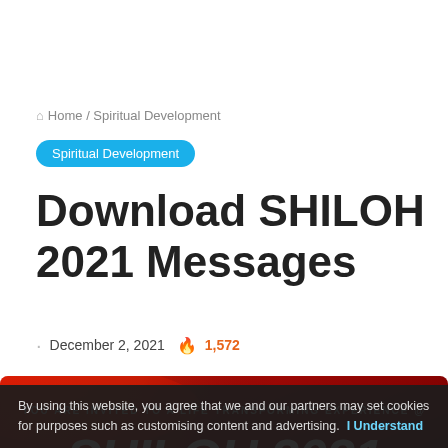Home / Spiritual Development
Spiritual Development
Download SHILOH 2021 Messages
December 2, 2021  1,572
[Figure (illustration): SHILOH 2021 banner: red background with bold white text reading SHILOH 2021 and subtitle YOU ARE INVITED TO A LIFE TRANSFORMING EXPERIENCE @]
By using this website, you agree that we and our partners may set cookies for purposes such as customising content and advertising. I Understand